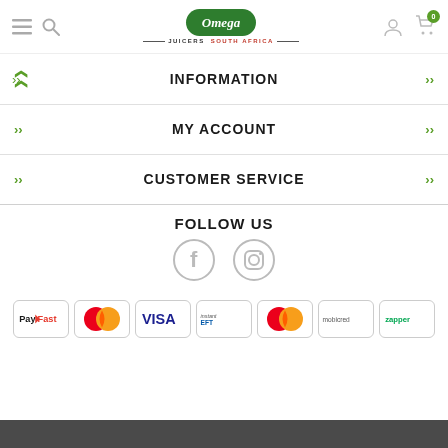[Figure (logo): Omega Juicers South Africa logo - green oval with white italic text and decorative lines]
INFORMATION
MY ACCOUNT
CUSTOMER SERVICE
FOLLOW US
[Figure (illustration): Facebook and Instagram social media icons in grey outline style]
[Figure (illustration): Payment method logos: PayFast, Mastercard, VISA, instantEFT, Mastercard (Masterpass), Mobicred, Zapper]